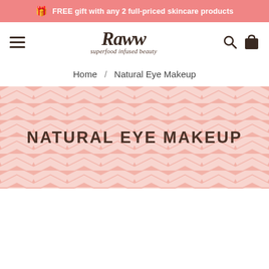FREE gift with any 2 full-priced skincare products
[Figure (screenshot): RAWW Cosmetics website header with logo 'Raww superfood infused beauty', hamburger menu, search and cart icons]
Home / Natural Eye Makeup
NATURAL EYE MAKEUP